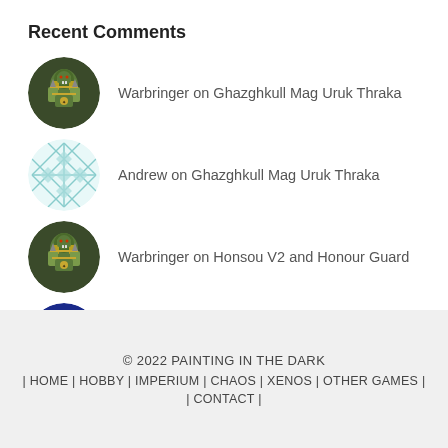Recent Comments
Warbringer on Ghazghkull Mag Uruk Thraka
Andrew on Ghazghkull Mag Uruk Thraka
Warbringer on Honsou V2 and Honour Guard
Phil on Honsou V2 and Honour Guard
Alex on Abaddon the Despoiler
© 2022 PAINTING IN THE DARK | HOME | HOBBY | IMPERIUM | CHAOS | XENOS | OTHER GAMES | CONTACT |